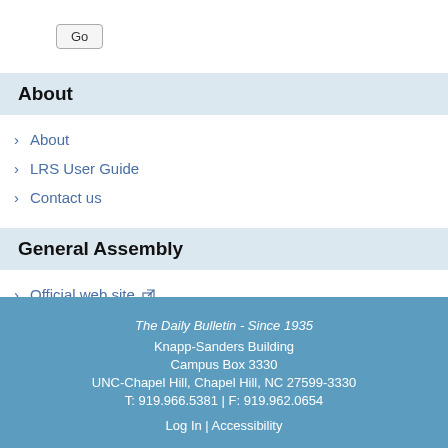Go
About
About
LRS User Guide
Contact us
General Assembly
Official web site
Bill Information
Calendars: House, Senate, and Interim
The Daily Bulletin - Since 1935
Knapp-Sanders Building
Campus Box 3330
UNC-Chapel Hill, Chapel Hill, NC 27599-3330
T: 919.966.5381 | F: 919.962.0654
Log In | Accessibility